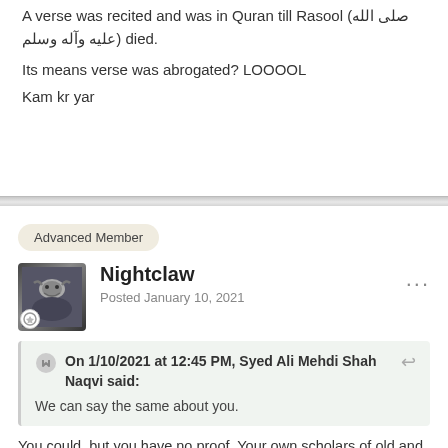A verse was recited and was in Quran till Rasool (صلى الله عليه وآله وسلم) died.
Its means verse was abrogated? LOOOOL
Kam kr yar
Advanced Member
Nightclaw
Posted January 10, 2021
On 1/10/2021 at 12:45 PM, Syed Ali Mehdi Shah Naqvi said:
We can say the same about you.
You could, but you have no proof. Your own scholars of old and new